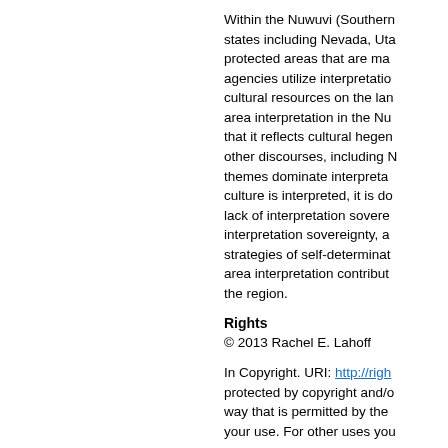Within the Nuwuvi (Southern Paiute) homeland spanning parts of four states including Nevada, Utah, Arizona, and California, there are protected areas that are managed by federal and state government agencies utilize interpretation to explain and preserve natural and cultural resources on the land. This dissertation examines protected area interpretation in the Nuwuvi homeland and argues that it reflects cultural hegemony, specifically, the marginalization of other discourses, including Native American perspectives. These themes dominate interpretation at the study sites. When Nuwuvi culture is interpreted, it is done so in ways that demonstrate a lack of interpretation sovereignty. The dissertation then examines interpretation sovereignty, as a decolonizing framework, and explores strategies of self-determination and the ways in which protected area interpretation contributes to ongoing colonization of indigenous peoples in the region.
Rights
© 2013 Rachel E. Lahoff
In Copyright. URI: http://righ protected by copyright and/or other rights. You may use this item in any way that is permitted by the copyright and related rights legislation that applies to your use. For other uses you
Comments
This is a Doctoral Dissertation. If the